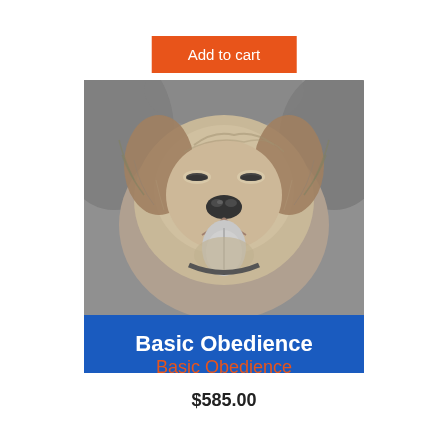Add to cart
[Figure (photo): Black and white close-up photo of a happy fluffy dog with tongue out, eyes partially closed, looking at the camera. Blue banner overlay at bottom reads 'Basic Obedience' in bold white text.]
Basic Obedience
$585.00